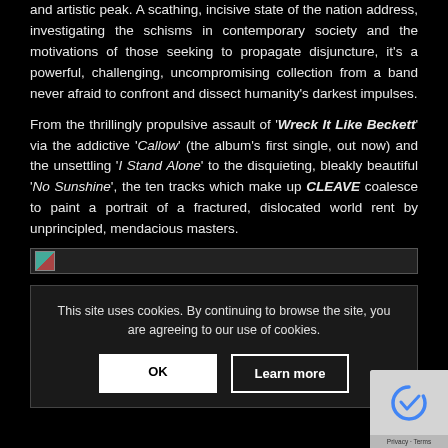and artistic peak. A scathing, incisive state of the nation address, investigating the schisms in contemporary society and the motivations of those seeking to propagate disjuncture, it's a powerful, challenging, uncompromising collection from a band never afraid to confront and dissect humanity's darkest impulses.
From the thrillingly propulsive assault of 'Wreck It Like Beckett' via the addictive 'Callow' (the album's first single, out now) and the unsettling 'I Stand Alone' to the disquieting, bleakly beautiful 'No Sunshine', the ten tracks which make up CLEAVE coalesce to paint a portrait of a fractured, dislocated world rent by unprincipled, mendacious masters.
[Figure (other): Image placeholder/broken image icon with grey background bar]
This site uses cookies. By continuing to browse the site, you are agreeing to our use of cookies.